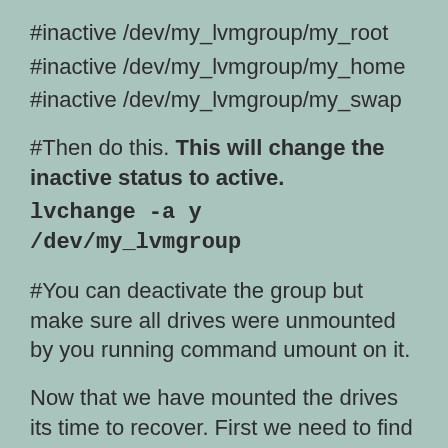#inactive /dev/my_lvmgroup/my_root
#inactive /dev/my_lvmgroup/my_home
#inactive /dev/my_lvmgroup/my_swap
#Then do this. This will change the inactive status to active.
lvchange -a y /dev/my_lvmgroup
#You can deactivate the group but make sure all drives were unmounted by you running command umount on it.
Now that we have mounted the drives its time to recover. First we need to find out what file system are on our /dev/my_lvmgroup/my_root